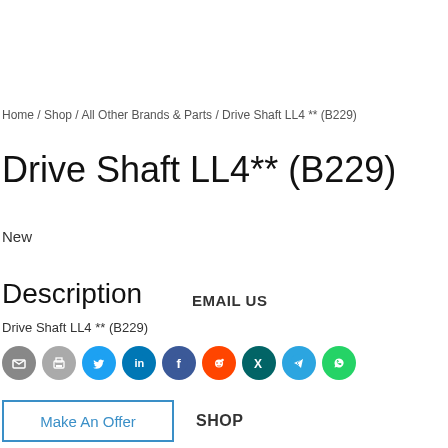Home / Shop / All Other Brands & Parts / Drive Shaft LL4 ** (B229)
Drive Shaft LL4 ** (B229)
New
Description
EMAIL US
Drive Shaft LL4 ** (B229)
[Figure (infographic): Social sharing icons: email, print, Twitter, LinkedIn, Facebook, Reddit, Xing, Telegram, WhatsApp]
Make An Offer
SHOP